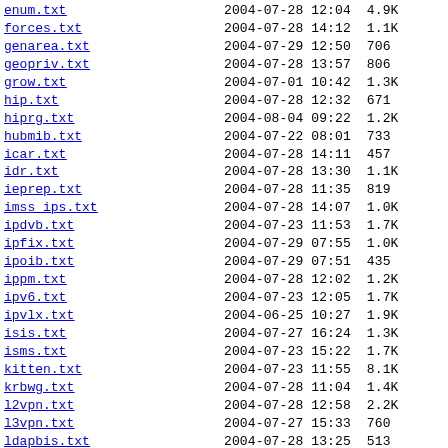enum.txt    2004-07-28 12:04  4.9K
forces.txt    2004-07-28 14:12  1.1K
genarea.txt    2004-07-29 12:50  706
geopriv.txt    2004-07-28 13:57  806
grow.txt    2004-07-01 10:42  1.3K
hip.txt    2004-07-28 12:32  671
hiprg.txt    2004-08-04 09:22  1.2K
hubmib.txt    2004-07-22 08:01  733
icar.txt    2004-07-28 14:11  457
idr.txt    2004-07-28 13:30  1.1K
ieprep.txt    2004-07-28 11:35  819
imss_ips.txt    2004-07-28 14:07  1.0K
ipdvb.txt    2004-07-23 11:53  1.7K
ipfix.txt    2004-07-29 07:55  1.0K
ipoib.txt    2004-07-29 07:51  435
ippm.txt    2004-07-28 12:02  1.2K
ipv6.txt    2004-07-23 12:05  1.7K
ipvlx.txt    2004-06-25 10:27  1.9K
isis.txt    2004-07-27 16:24  1.3K
isms.txt    2004-07-23 15:22  1.7K
kitten.txt    2004-07-23 11:55  8.1K
krbwg.txt    2004-07-28 11:04  1.4K
l2vpn.txt    2004-07-28 12:58  2.2K
l3vpn.txt    2004-07-27 15:33  760
ldapbis.txt    2004-07-28 13:25  513
ltans.txt    2004-07-28 14:02  649
magma.txt    2004-07-28 14:15  775
marid.txt    2004-07-27 15:50  682
mass.txt    2004-07-22 12:44  1.7K
mboned.txt    2004-07-13 07:01  1.4K
midcom.txt    2004-07-27 15:07  335